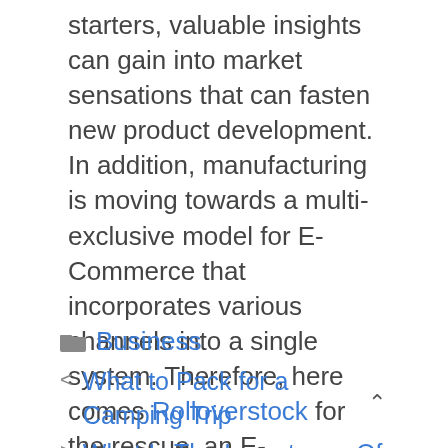starters, valuable insights can gain into market sensations that can fasten new product development. In addition, manufacturing is moving towards a multi-exclusive model for E-Commerce that incorporates various channels into a single system. Therefore, here comes Rolloverstock for the rescue, an E-Commerce platform that walks alone and has an excellent chance to buy or sell your products.
Business
< What to Pack for a Camping Trip
> What Is The Importance Of Mold Inspection in North York?